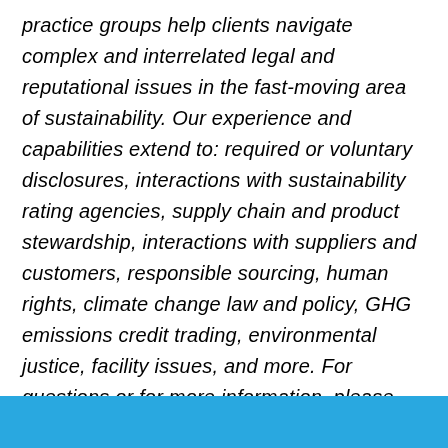practice groups help clients navigate complex and interrelated legal and reputational issues in the fast-moving area of sustainability. Our experience and capabilities extend to: required or voluntary disclosures, interactions with sustainability rating agencies, supply chain and product stewardship, interactions with suppliers and customers, responsible sourcing, human rights, climate change law and policy, GHG emissions credit trading, environmental justice, facility issues, and more. For questions or for more information, please contact the authors.
[Figure (other): Solid light blue horizontal bar at the bottom of the page]